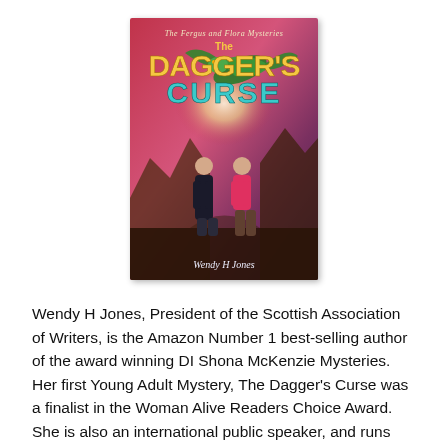[Figure (illustration): Book cover of 'The Dagger's Curse' from The Fergus and Flora Mysteries series by Wendy H Jones. Shows two children (a boy in black and a girl in pink) looking up at a glowing dragon against a dramatic red/purple sky with rocky landscape. Title text in large orange/teal letters.]
Wendy H Jones, President of the Scottish Association of Writers, is the Amazon Number 1 best-selling author of the award winning DI Shona McKenzie Mysteries. Her first Young Adult Mystery, The Dagger's Curse was a finalist in the Woman Alive Readers Choice Award. She is also an international public speaker, and runs conferences and workshops on writing, motivation and marketing. Wendy is the founder of